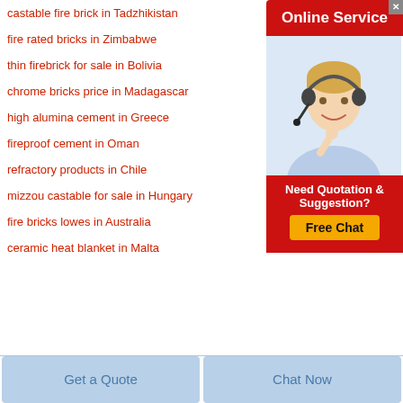castable fire brick in Tadzhikistan
fire rated bricks in Zimbabwe
thin firebrick for sale in Bolivia
chrome bricks price in Madagascar
high alumina cement in Greece
fireproof cement in Oman
refractory products in Chile
mizzou castable for sale in Hungary
fire bricks lowes in Australia
ceramic heat blanket in Malta
[Figure (infographic): Online Service sidebar with a customer service agent wearing a headset, a red header reading 'Online Service', and a red CTA section with text 'Need Quotation & Suggestion?' and a yellow button labeled 'Free Chat']